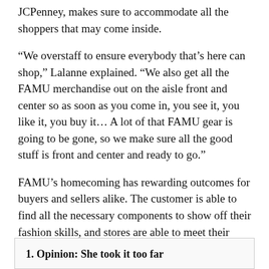JCPenney, makes sure to accommodate all the shoppers that may come inside.
“We overstaff to ensure everybody that’s here can shop,” Lalanne explained. “We also get all the FAMU merchandise out on the aisle front and center so as soon as you come in, you see it, you like it, you buy it… A lot of that FAMU gear is going to be gone, so we make sure all the good stuff is front and center and ready to go.”
FAMU’s homecoming has rewarding outcomes for buyers and sellers alike. The customer is able to find all the necessary components to show off their fashion skills, and stores are able to meet their sales goals and make ways for new items.
1. Opinion: She took it too far